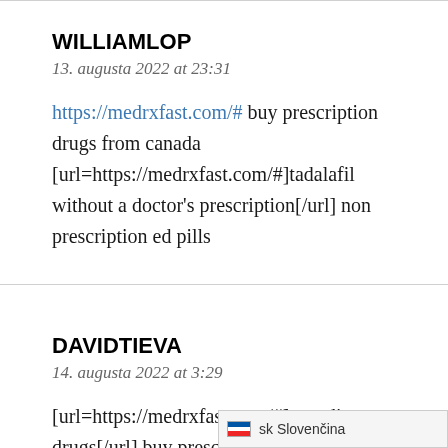WILLIAMLOP
13. augusta 2022 at 23:31
https://medrxfast.com/# buy prescription drugs from canada [url=https://medrxfast.com/#]tadalafil without a doctor's prescription[/url] non prescription ed pills
DAVIDTIEVA
14. augusta 2022 at 3:29
[url=https://medrxfast.com/#]canadian drugs[/url] buy prescription drugs from